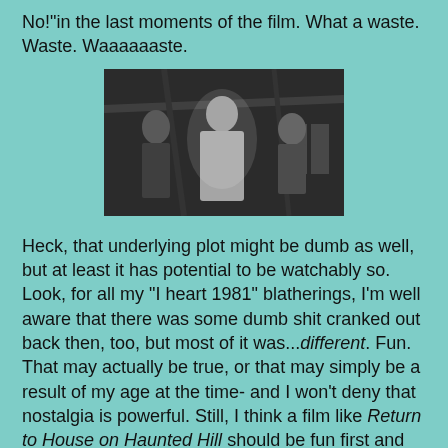No!"in the last moments of the film. What a waste. Waste. Waaaaaaste.
[Figure (photo): Black and white still from a horror movie showing three figures: a woman on the left, a bald man in white in the center, and a man on the right, in a dimly lit indoor setting.]
Heck, that underlying plot might be dumb as well, but at least it has potential to be watchably so. Look, for all my "I heart 1981" blatherings, I'm well aware that there was some dumb shit cranked out back then, too, but most of it was...different. Fun. That may actually be true, or that may simply be a result of my age at the time- and I won't deny that nostalgia is powerful. Still, I think a film like Return to House on Haunted Hill should be fun first and foremost- that's why the original (almost) succeeds- but the return is not fun at all. And honestly, I doubt the hi-def Choose Your Own Adventure schtick would make it any more so. For fuck's sake, this movie has blood and naked lesbian ghosts